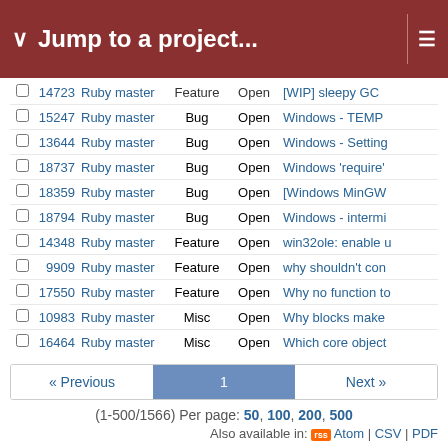Jump to a project...
|  | # | Project | Tracker | Status | Subject |
| --- | --- | --- | --- | --- | --- |
|  | 14723 | Ruby master | Feature | Open | [WIP] sleepy GC |
|  | 15247 | Ruby master | Bug | Open | Windows - TEMP |
|  | 13644 | Ruby master | Bug | Open | Windows - Setting |
|  | 18737 | Ruby master | Bug | Open | Windows 'require' |
|  | 18359 | Ruby master | Bug | Open | [Windows MinGW |
|  | 18794 | Ruby master | Bug | Open | Windows - intermi |
|  | 14348 | Ruby master | Feature | Open | win32ole: enable u |
|  | 9909 | Ruby master | Feature | Open | why shouldn't con |
|  | 17550 | Ruby master | Feature | Open | Why no function to |
|  | 10983 | Ruby master | Misc | Open | Why blocks make |
|  | 16464 | Ruby master | Misc | Open | Which core object |
« Previous  1  Next »
(1-500/1566) Per page: 50, 100, 200, 500
Also available in: Atom | CSV | PDF
Powered by Redmine © 2006-2022 Jean-Philippe Lang